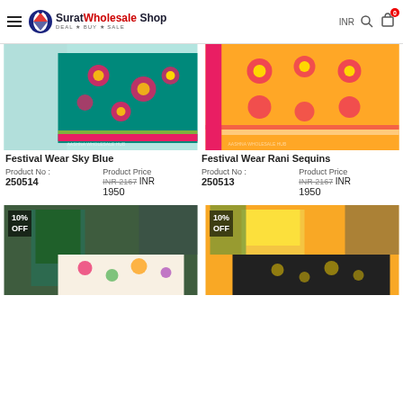Surat Wholesale Shop — DEAL • BUY • SALE | INR
[Figure (photo): Festival Wear Sky Blue embroidered fabric with floral sequin work]
[Figure (photo): Festival Wear Rani Sequins embroidered fabric with pink border]
Festival Wear Sky Blue
Product No: 250514  Product Price INR 2167 INR 1950
Festival Wear Rani Sequins
Product No: 250513  Product Price INR 2167 INR 1950
[Figure (photo): Green suit set with printed dupatta — 10% OFF badge]
[Figure (photo): Yellow kurti with dark printed dupatta — 10% OFF badge]